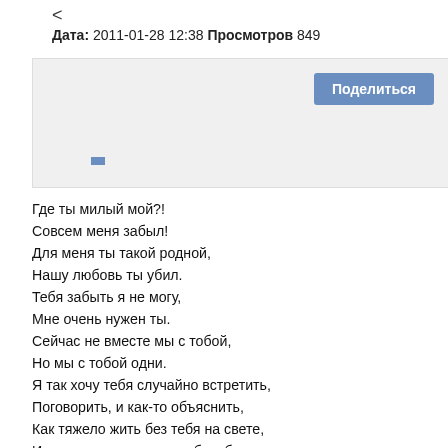<
Дата: 2011-01-28 12:38 Просмотров 849
[Figure (screenshot): Share widget box with 'Поделиться' button and a small blue dash element]
Где ты милый мой?!
Совсем меня забыл!
Для меня ты такой родной,
Нашу любовь ты убил.
Тебя забыть я не могу,
Мне очень нужен ты.
Сейчас не вместе мы с тобой,
Но мы с тобой одни.
Я так хочу тебя случайно встретить,
Поговорить, и как-то объяснить,
Как тяжело жить без тебя на свете,
И как мне трудно не с тобою быть.
Ночами трудно засыпаю,
Твой голос часто вспоминаю,
Ты снишся мне, как-будто наяву...
Но я во сне с тобою говорю.